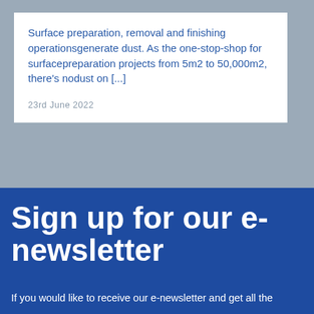Surface preparation, removal and finishing operationsgenerate dust. As the one-stop-shop for surfacepreparation projects from 5m2 to 50,000m2, there's nodust on [...]
23rd June 2022
Sign up for our e-newsletter
If you would like to receive our e-newsletter and get all the